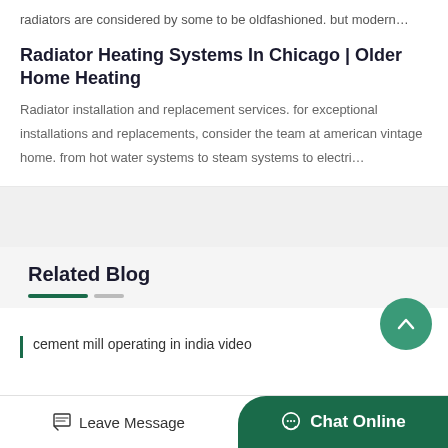radiators are considered by some to be oldfashioned. but modern…
Radiator Heating Systems In Chicago | Older Home Heating
Radiator installation and replacement services. for exceptional installations and replacements, consider the team at american vintage home. from hot water systems to steam systems to electri…
Related Blog
cement mill operating in india video
Leave Message
Chat Online